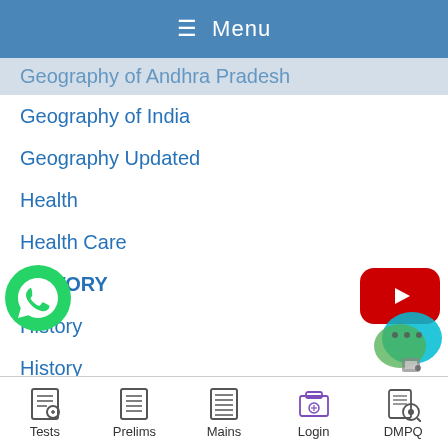≡ Menu
Geography of Andhra Pradesh
Geography of India
Geography Updated
Health
Health Care
HISTORY
History
History
History Booster
History Free Mock Quiz
History of India
History prelims
[Figure (logo): YouTube play button logo in red]
[Figure (logo): WhatsApp logo in green]
[Figure (logo): Chat bubble icon in teal/green]
Tests  Prelims  Mains  Login  DMPQ